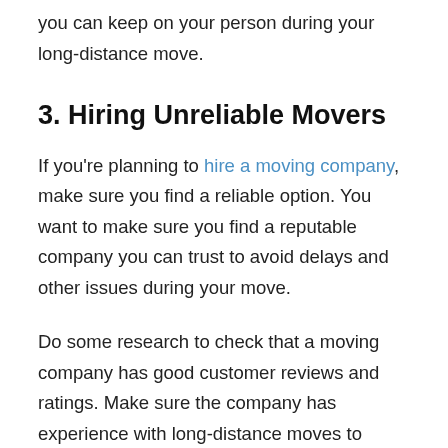you can keep on your person during your long-distance move.
3. Hiring Unreliable Movers
If you're planning to hire a moving company, make sure you find a reliable option. You want to make sure you find a reputable company you can trust to avoid delays and other issues during your move.
Do some research to check that a moving company has good customer reviews and ratings. Make sure the company has experience with long-distance moves to make sure you and your possessions are in good hands. Find a trusted option that still works within your budget